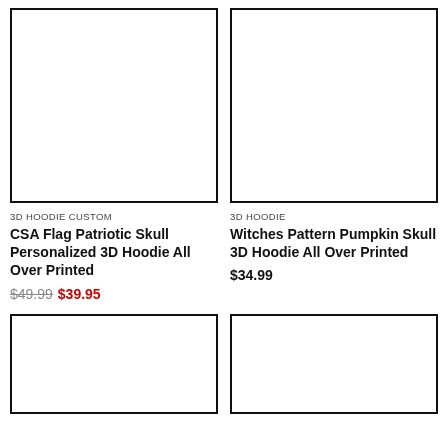[Figure (photo): Product image placeholder - white box with black border, left top]
[Figure (photo): Product image placeholder - white box with black border, right top]
3D HOODIE CUSTOM
3D HOODIE
CSA Flag Patriotic Skull Personalized 3D Hoodie All Over Printed
Witches Pattern Pumpkin Skull 3D Hoodie All Over Printed
$49.99  $39.95
$34.99
[Figure (photo): Product image placeholder - white box with black border, left bottom]
[Figure (photo): Product image placeholder - white box with black border, right bottom]